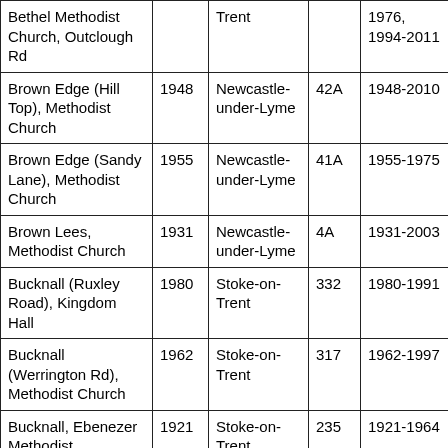| Bethel Methodist Church, Outclough Rd |  | Trent |  | 1976, 1994-2011 |
| Brown Edge (Hill Top), Methodist Church | 1948 | Newcastle-under-Lyme | 42A | 1948-2010 |
| Brown Edge (Sandy Lane), Methodist Church | 1955 | Newcastle-under-Lyme | 41A | 1955-1975 |
| Brown Lees, Methodist Church | 1931 | Newcastle-under-Lyme | 4A | 1931-2003 |
| Bucknall (Ruxley Road), Kingdom Hall | 1980 | Stoke-on-Trent | 332 | 1980-1991 |
| Bucknall (Werrington Rd), Methodist Church | 1962 | Stoke-on-Trent | 317 | 1962-1997 |
| Bucknall, Ebenezer Methodist... | 1921 | Stoke-on-Trent | 235 | 1921-1964 |